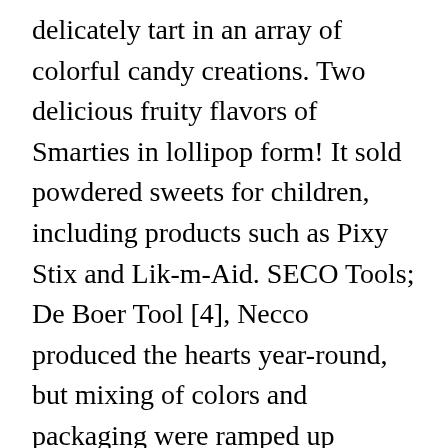delicately tart in an array of colorful candy creations. Two delicious fruity flavors of Smarties in lollipop form! It sold powdered sweets for children, including products such as Pixy Stix and Lik-m-Aid. SECO Tools; De Boer Tool [4], Necco produced the hearts year-round, but mixing of colors and packaging were ramped up beginning in September to meet the demand for the product at Valentine's Day. blue- rasberry? The candy was often used for weddings since the candies had witty saying such as: "Married in pink, he will take a drink", "Married in White, you have chosen right", and "Married in Satin, Love will not be lasting". Sign up to get